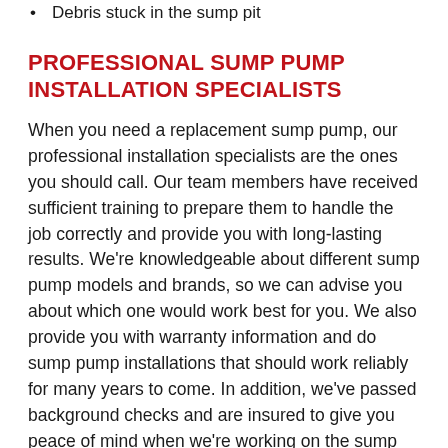Debris stuck in the sump pit
PROFESSIONAL SUMP PUMP INSTALLATION SPECIALISTS
When you need a replacement sump pump, our professional installation specialists are the ones you should call. Our team members have received sufficient training to prepare them to handle the job correctly and provide you with long-lasting results. We're knowledgeable about different sump pump models and brands, so we can advise you about which one would work best for you. We also provide you with warranty information and do sump pump installations that should work reliably for many years to come. In addition, we've passed background checks and are insured to give you peace of mind when we're working on the sump pump inside your home. Our high level of service is unmatched in the Great Falls, VA area, and we're always ready